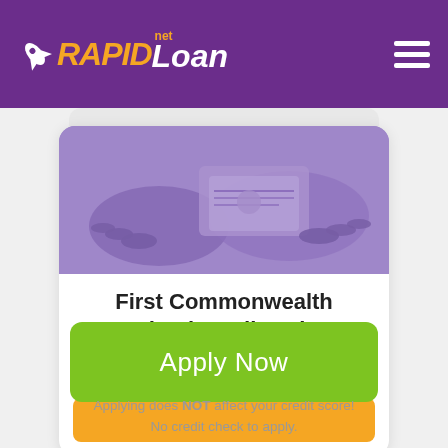RAPIDLoan.net
[Figure (photo): Hands holding cash money, purple-tinted grayscale photo]
First Commonwealth Federal Credit Union
3.4 (star rating: 3 filled stars, 1 half star, 1 empty star)
Apply Now
Applying does NOT affect your credit score! No credit check to apply.